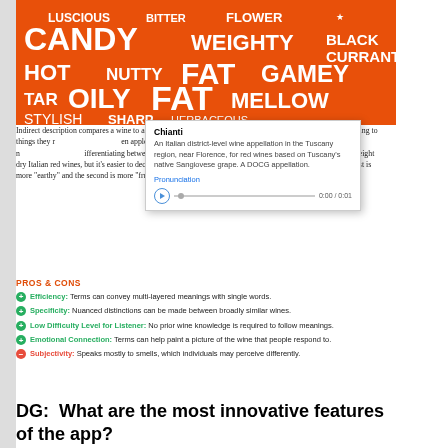[Figure (infographic): Orange word cloud with wine descriptor words: CANDY, LUSCIOUS, BITTER, FLOWER, WEIGHTY, BLACK CURRANTS, HOT, NUTTY, FAT, GAMEY, TAR, OILY, MELLOW, STYLISH, SHARP, HERBACEOUS, DELICATE, SPICY, NOUVEAU]
[Figure (screenshot): Tooltip popup for 'Chianti' showing definition: An Italian district-level wine appellation in the Tuscany region, near Florence, for red wines based on Tuscany's native Sangiovese grape. A DOCG appellation. With pronunciation label and audio player showing 0:00 / 0:01]
Indirect description compares a wine to a more familiar and are hard to describe, we t erring to things they r en apple" or smells "pepp eful idea very quickly and r ifferentiating between two similar wines. Chianti and Valpolicella are both mid-weight dry Italian red wines, but it's easier to decide which will suit your tastes if the waiter lets you know that the first is more "earthy" and the second is more "fruity."
PROS & CONS
Efficiency: Terms can convey multi-layered meanings with single words.
Specificity: Nuanced distinctions can be made between broadly similar wines.
Low Difficulty Level for Listener: No prior wine knowledge is required to follow meanings.
Emotional Connection: Terms can help paint a picture of the wine that people respond to.
Subjectivity: Speaks mostly to smells, which individuals may perceive differently.
DG:  What are the most innovative features of the app?